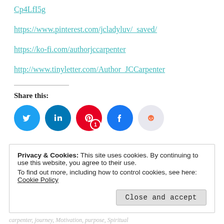Cp4LfI5g
https://www.pinterest.com/jcladyluv/_saved/
https://ko-fi.com/authorjccarpenter
http://www.tinyletter.com/Author_JCCarpenter
Share this:
[Figure (infographic): Social share buttons: Twitter (blue circle), LinkedIn (dark blue circle), Pinterest (red circle with badge '1'), Facebook (blue circle), Reddit (light grey circle)]
Privacy & Cookies: This site uses cookies. By continuing to use this website, you agree to their use.
To find out more, including how to control cookies, see here: Cookie Policy
Carpenter, Journey, Motivation, purpose, Spiritual